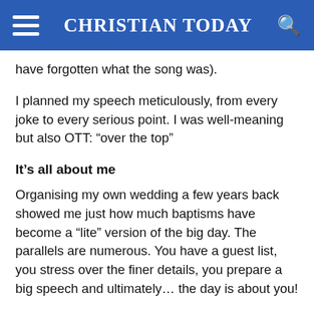CHRISTIAN TODAY
have forgotten what the song was).
I planned my speech meticulously, from every joke to every serious point. I was well-meaning but also OTT: “over the top”
It’s all about me
Organising my own wedding a few years back showed me just how much baptisms have become a “lite” version of the big day. The parallels are numerous. You have a guest list, you stress over the finer details, you prepare a big speech and ultimately… the day is about you!
Now, I am being purposely provoking here, because we all